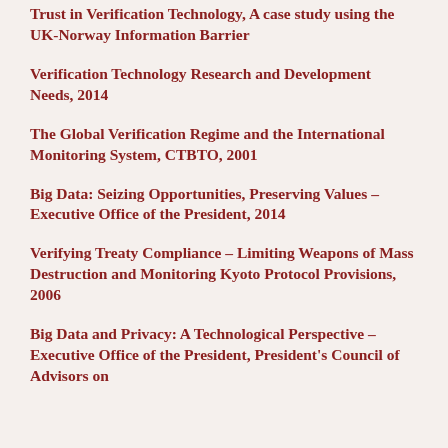Trust in Verification Technology, A case study using the UK-Norway Information Barrier
Verification Technology Research and Development Needs, 2014
The Global Verification Regime and the International Monitoring System, CTBTO, 2001
Big Data: Seizing Opportunities, Preserving Values – Executive Office of the President, 2014
Verifying Treaty Compliance – Limiting Weapons of Mass Destruction and Monitoring Kyoto Protocol Provisions, 2006
Big Data and Privacy: A Technological Perspective – Executive Office of the President, President's Council of Advisors on